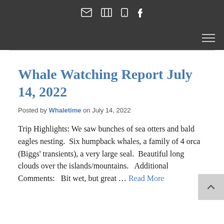Navigation bar with icons: envelope, map, mobile, facebook; hamburger menu
Whale Watching Report July 14, 2022
Posted by Whaletime on July 14, 2022
Trip Highlights: We saw bunches of sea otters and bald eagles nesting.  Six humpback whales, a family of 4 orca (Biggs' transients), a very large seal.  Beautiful long clouds over the islands/mountains.   Additional Comments:   Bit wet, but great … Read More